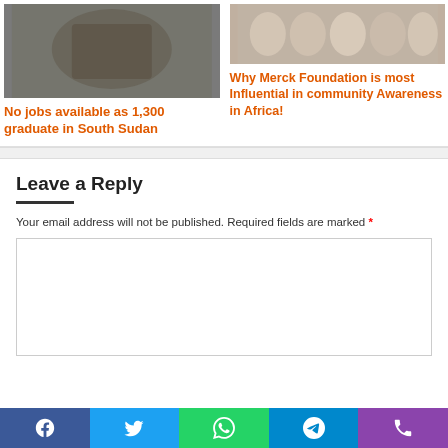[Figure (photo): A person in graduation cap and gown surrounded by people outdoors]
No jobs available as 1,300 graduate in South Sudan
[Figure (photo): A group of women in colorful traditional dress standing together]
Why Merck Foundation is most Influential in community Awareness in Africa!
Leave a Reply
Your email address will not be published. Required fields are marked *